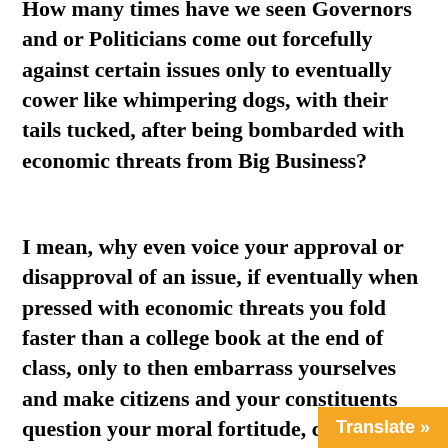How many times have we seen Governors and or Politicians come out forcefully against certain issues only to eventually cower like whimpering dogs, with their tails tucked, after being bombarded with economic threats from Big Business?
I mean, why even voice your approval or disapproval of an issue, if eventually when pressed with economic threats you fold faster than a college book at the end of class, only to then embarrass yourselves and make citizens and your constituents question your moral fortitude, courage and character? Why not just keep silent and do it quietly as opposed to cowering whenever thr